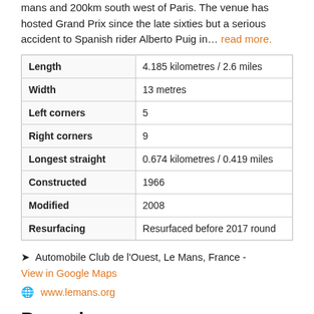mans and 200km south west of Paris. The venue has hosted Grand Prix since the late sixties but a serious accident to Spanish rider Alberto Puig in… read more.
| Property | Value |
| --- | --- |
| Length | 4.185 kilometres / 2.6 miles |
| Width | 13 metres |
| Left corners | 5 |
| Right corners | 9 |
| Longest straight | 0.674 kilometres / 0.419 miles |
| Constructed | 1966 |
| Modified | 2008 |
| Resurfacing | Resurfaced before 2017 round |
📍 Automobile Club de l'Ouest, Le Mans, France - View in Google Maps
🌐 www.lemans.org
Records
| Pole Position | Value |
| --- | --- |
| Pole Position | 1:39.450 (100.51 km/h) Francesco Bagnaia (Ducati f... |